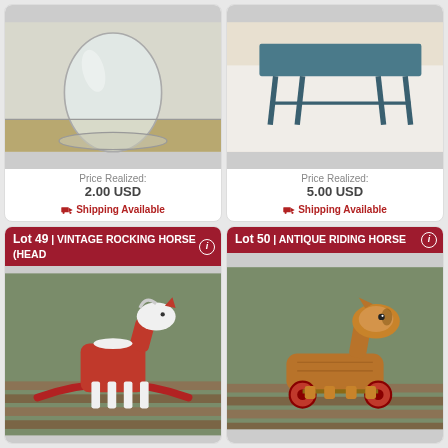[Figure (photo): Glass cloche/dome on wooden base]
Price Realized: 2.00 USD
🚚 Shipping Available
[Figure (photo): Teal/blue side table on white cloth background]
Price Realized: 5.00 USD
🚚 Shipping Available
Lot 49 | VINTAGE ROCKING HORSE (HEAD
[Figure (photo): Red and white wooden vintage rocking horse on a deck]
Lot 50 | ANTIQUE RIDING HORSE
[Figure (photo): Antique wooden riding horse with wheels on a deck]